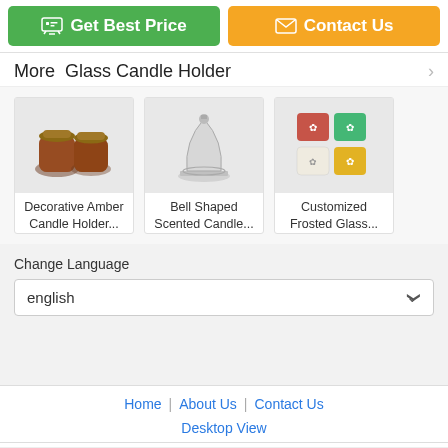[Figure (screenshot): Get Best Price button (green) and Contact Us button (orange) at top of page]
More  Glass Candle Holder
[Figure (photo): Decorative Amber Candle Holder product image]
Decorative Amber Candle Holder...
[Figure (photo): Bell Shaped Scented Candle product image]
Bell Shaped Scented Candle...
[Figure (photo): Customized Frosted Glass product image]
Customized Frosted Glass...
Change Language
english
Home | About Us | Contact Us
Desktop View
[Figure (screenshot): Chat Now button (outlined orange) and Request A Quote button (orange) at bottom]